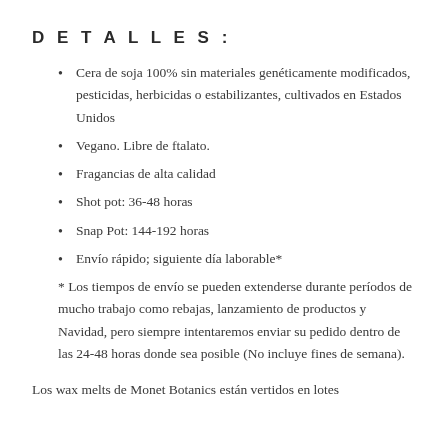DETALLES:
Cera de soja 100% sin materiales genéticamente modificados, pesticidas, herbicidas o estabilizantes, cultivados en Estados Unidos
Vegano. Libre de ftalato.
Fragancias de alta calidad
Shot pot: 36-48 horas
Snap Pot: 144-192 horas
Envío rápido; siguiente día laborable*
* Los tiempos de envío se pueden extenderse durante períodos de mucho trabajo como rebajas, lanzamiento de productos y Navidad, pero siempre intentaremos enviar su pedido dentro de las 24-48 horas donde sea posible (No incluye fines de semana).
Los wax melts de Monet Botanics están vertidos en lotes